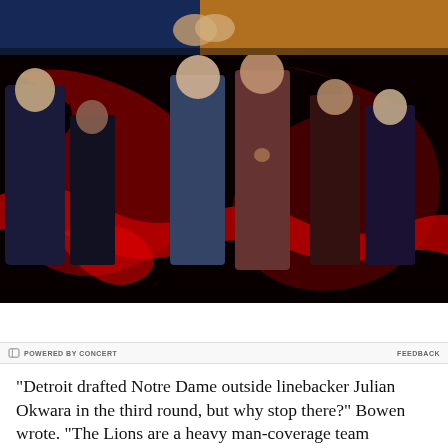[Figure (photo): Top portion: two people fighting, partial view with blue and yellow/orange backgrounds. Below: Cobra Kai Netflix show promotional image with cast members posed against dark red and black snake/cobra artwork background. Text shows 'SEPT 9', 'NETFLIX', and 'LEARN MORE >' button.]
POWERED BY CONCERT    FEEDBACK
“Detroit drafted Notre Dame outside linebacker Julian Okwara in the third round, but why stop there?” Bowen wrote. “The Lions are a heavy man-coverage team